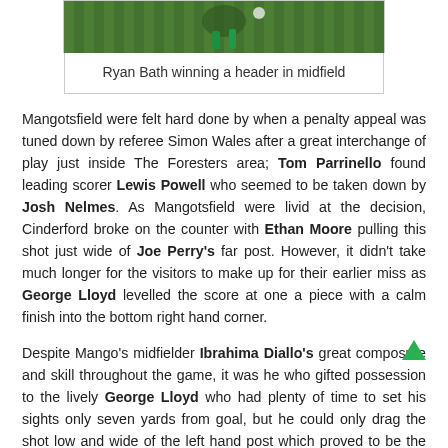[Figure (photo): Ryan Bath winning a header in midfield — football/soccer match action photo showing player in green kit heading ball]
Ryan Bath winning a header in midfield
Mangotsfield were felt hard done by when a penalty appeal was tuned down by referee Simon Wales after a great interchange of play just inside The Foresters area; Tom Parrinello found leading scorer Lewis Powell who seemed to be taken down by Josh Nelmes. As Mangotsfield were livid at the decision, Cinderford broke on the counter with Ethan Moore pulling this shot just wide of Joe Perry's far post. However, it didn't take much longer for the visitors to make up for their earlier miss as George Lloyd levelled the score at one a piece with a calm finish into the bottom right hand corner.
Despite Mango's midfielder Ibrahima Diallo's great composure and skill throughout the game, it was he who gifted possession to the lively George Lloyd who had plenty of time to set his sights only seven yards from goal, but he could only drag the shot low and wide of the left hand post which proved to be the last action of the first half.
With the start of the first half being fairly slow and gritty for the Mango's, they more than made up for with high intensity to kick-off